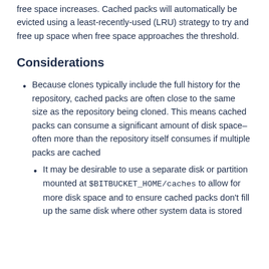free space increases. Cached packs will automatically be evicted using a least-recently-used (LRU) strategy to try and free up space when free space approaches the threshold.
Considerations
Because clones typically include the full history for the repository, cached packs are often close to the same size as the repository being cloned. This means cached packs can consume a significant amount of disk space–often more than the repository itself consumes if multiple packs are cached
It may be desirable to use a separate disk or partition mounted at $BITBUCKET_HOME/caches to allow for more disk space and to ensure cached packs don't fill up the same disk where other system data is stored